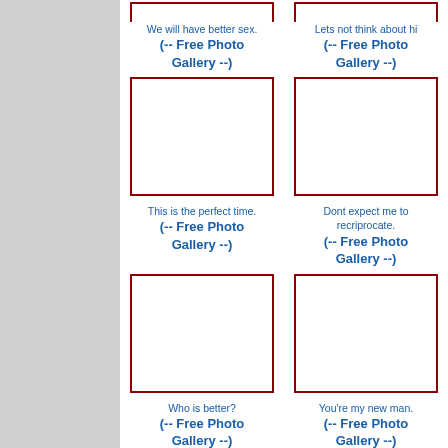[Figure (other): Placeholder image box with dark red border, top-left]
We will have better sex.
(-- Free Photo Gallery --)
[Figure (other): Placeholder image box with dark red border, top-right (partially visible)]
Lets not think about hi
(-- Free Photo Gallery --)
[Figure (other): Placeholder image box with dark red border, middle-left]
This is the perfect time.
(-- Free Photo Gallery --)
[Figure (other): Placeholder image box with dark red border, middle-right (partially visible)]
Dont expect me to recriprocate.
(-- Free Photo Gallery --)
[Figure (other): Placeholder image box with dark red border, lower-left]
Who is better?
(-- Free Photo Gallery --)
[Figure (other): Placeholder image box with dark red border, lower-right (partially visible)]
You're my new man.
(-- Free Photo Gallery --)
[Figure (other): Placeholder image box with dark red border, bottom-left (partially visible)]
[Figure (other): Placeholder image box with dark red border, bottom-right (partially visible)]